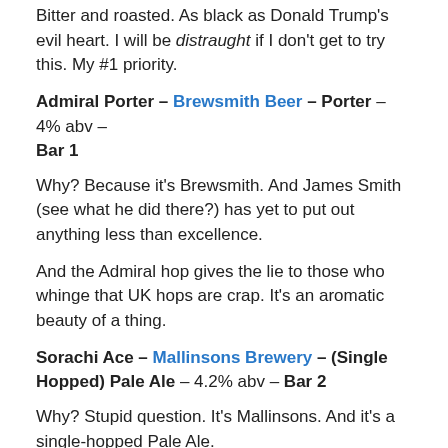Bitter and roasted. As black as Donald Trump's evil heart. I will be distraught if I don't get to try this. My #1 priority.
Admiral Porter – Brewsmith Beer – Porter – 4% abv – Bar 1
Why? Because it's Brewsmith. And James Smith (see what he did there?) has yet to put out anything less than excellence.
And the Admiral hop gives the lie to those who whinge that UK hops are crap. It's an aromatic beauty of a thing.
Sorachi Ace – Mallinsons Brewery – (Single Hopped) Pale Ale – 4.2% abv – Bar 2
Why? Stupid question. It's Mallinsons. And it's a single-hopped Pale Ale.